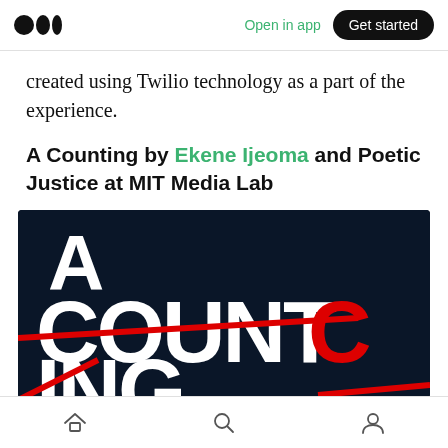Medium logo | Open in app | Get started
created using Twilio technology as a part of the experience.
A Counting by Ekene Ijeoma and Poetic Justice at MIT Media Lab
[Figure (photo): Dark navy blue background with large white bold text reading 'A COUNTING' with red diagonal strikethrough lines crossing the text]
Home | Search | Profile